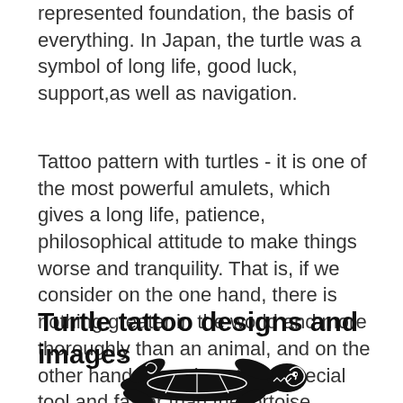represented foundation, the basis of everything. In Japan, the turtle was a symbol of long life, good luck, support,as well as navigation.
Tattoo pattern with turtles - it is one of the most powerful amulets, which gives a long life, patience, philosophical attitude to make things worse and tranquility. That is, if we consider on the one hand, there is nothing greater in the world and more thoroughly than an animal, and on the other hand, there is nothing special tool,and faster than the tortoise.
Turtle tattoo designs and images
[Figure (illustration): Black tribal/Maori style turtle tattoo design illustration, showing a stylized turtle with decorative swirling patterns]